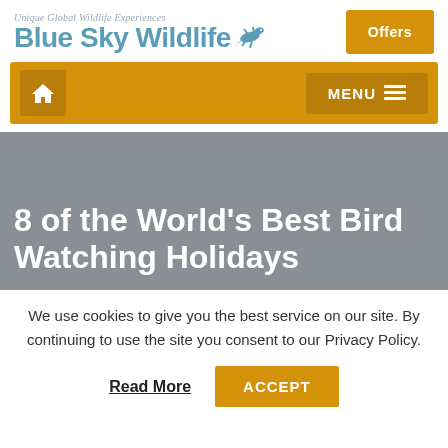[Figure (logo): Blue Sky Wildlife logo with tagline 'Unique Global Wildlife Experiences' and lizard graphic]
Offers
[Figure (infographic): Navigation bar with home icon button and MENU button with hamburger icon]
8 of the World's Best Bird Watching Holidays
We use cookies to give you the best service on our site. By continuing to use the site you consent to our Privacy Policy.
Read More
ACCEPT